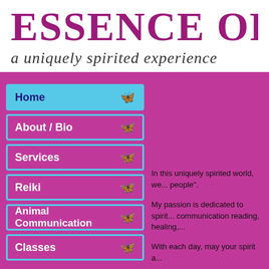ESSENCE OF E[ssence]
a uniquely spirited experience
Home
About / Bio
Services
Reiki
Animal Communication
Classes
In this uniquely spirited world, we... people".
My passion is dedicated to spirit... communication reading, healing,...
With each day, may your spirit a...